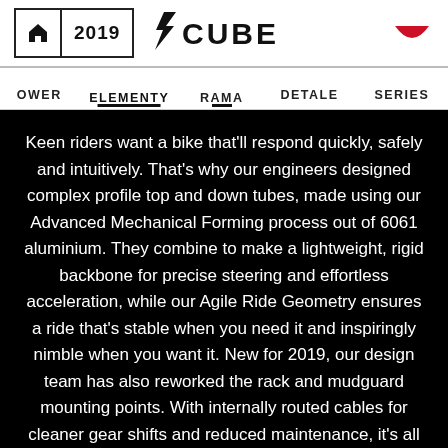🏠 2019 | CUBE logo
OWER | ELEMENTY | RAMA | DETALE | SERIES
Keen riders want a bike that'll respond quickly, safely and intuitively. That's why our engineers designed complex profile top and down tubes, made using our Advanced Mechanical Forming process out of 6061 aluminium. They combine to make a lightweight, rigid backbone for precise steering and effortless acceleration, while our Agile Ride Geometry ensures a ride that's stable when you need it and inspiringly nimble when you want it. New for 2019, our design team has also reworked the rack and mudguard mounting points. With internally routed cables for cleaner gear shifts and reduced maintenance, it's all part of the attention to detail that makes the Aim SL Allroad a compelling blend of comfort, liveliness and practicality.